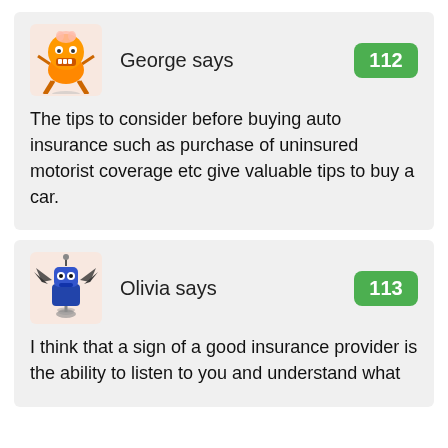[Figure (illustration): Cartoon orange robot/alien character avatar for George]
George says
112
The tips to consider before buying auto insurance such as purchase of uninsured motorist coverage etc give valuable tips to buy a car.
[Figure (illustration): Cartoon blue robot/bat character avatar for Olivia]
Olivia says
113
I think that a sign of a good insurance provider is the ability to listen to you and understand what